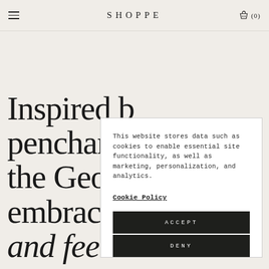≡  SHOPPE  🧺 (0)
Inspired b... penchant... the Georg... embraces... and feel.
This website stores data such as cookies to enable essential site functionality, as well as marketing, personalization, and analytics.
Cookie Policy
ACCEPT
DENY